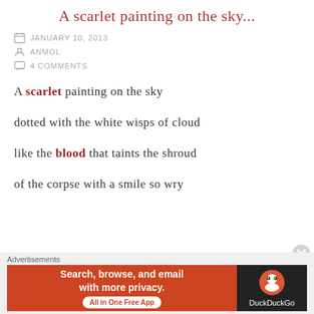A scarlet painting on the sky...
JANUARY 10, 2013
ANMOL
4 COMMENTS
A scarlet painting on the sky
dotted with the white wisps of cloud
like the blood that taints the shroud
of the corpse with a smile so wry
Advertisements
[Figure (other): DuckDuckGo advertisement banner: 'Search, browse, and email with more privacy. All in One Free App' with DuckDuckGo logo on dark background.]